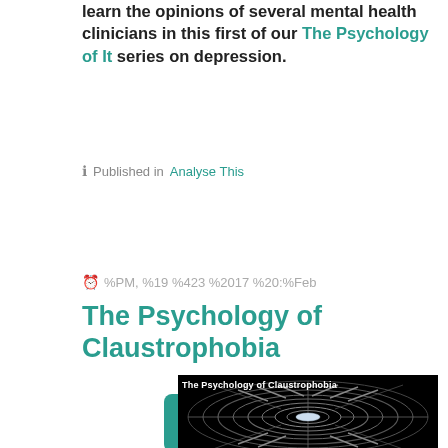learn the opinions of several mental health clinicians in this first of our The Psychology of It series on depression.
ℹ Published in  Analyse This
Read more...
⏰ %PM, %19 %423 %2017 %20:%Feb
The Psychology of Claustrophobia
[Figure (photo): Dark image with tunnel/spiral architectural view and white text overlay reading 'The Psychology of Claustrophobia']